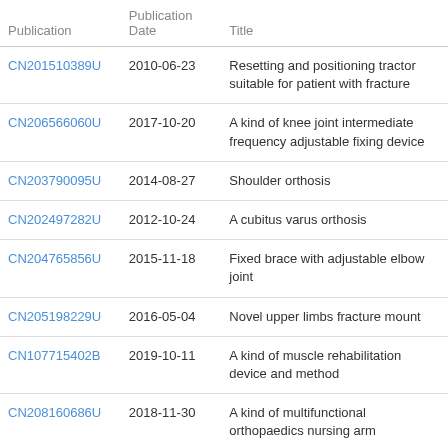| Publication | Publication Date | Title |
| --- | --- | --- |
| CN201510389U | 2010-06-23 | Resetting and positioning tractor suitable for patient with fracture |
| CN206566060U | 2017-10-20 | A kind of knee joint intermediate frequency adjustable fixing device |
| CN203790095U | 2014-08-27 | Shoulder orthosis |
| CN202497282U | 2012-10-24 | A cubitus varus orthosis |
| CN204765856U | 2015-11-18 | Fixed brace with adjustable elbow joint |
| CN205198229U | 2016-05-04 | Novel upper limbs fracture mount |
| CN107715402B | 2019-10-11 | A kind of muscle rehabilitation device and method |
| CN208160686U | 2018-11-30 | A kind of multifunctional orthopaedics nursing arm |